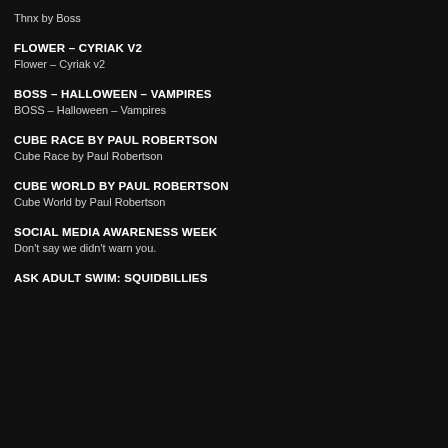Thnx by Boss
FLOWER – CYRIAK V2
Flower – Cyriak v2
BOSS – HALLOWEEN – VAMPIRES
BOSS – Halloween – Vampires
CUBE RACE BY PAUL ROBERTSON
Cube Race by Paul Robertson
CUBE WORLD BY PAUL ROBERTSON
Cube World by Paul Robertson
SOCIAL MEDIA AWARENESS WEEK
Don't say we didn't warn you.
ASK ADULT SWIM: SQUIDBILLIES